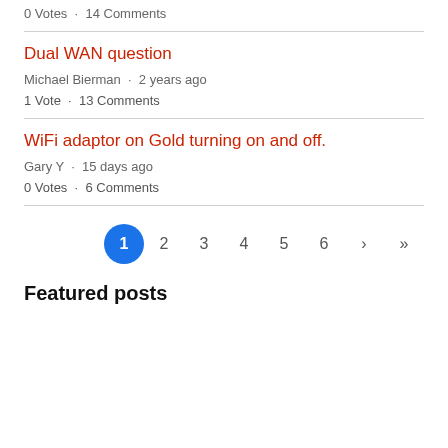0 Votes · 14 Comments
Dual WAN question
Michael Bierman · 2 years ago
1 Vote · 13 Comments
WiFi adaptor on Gold turning on and off.
Gary Y · 15 days ago
0 Votes · 6 Comments
1 2 3 4 5 6 › »
Featured posts